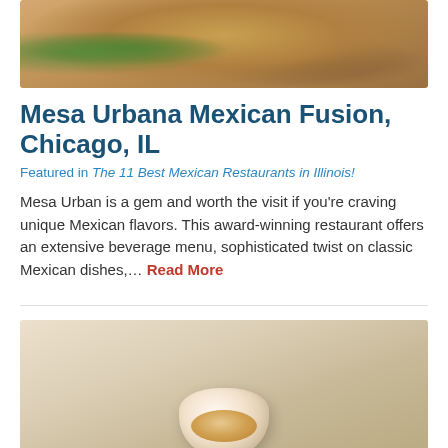[Figure (photo): Top portion of a food photo showing tacos or Mexican food on a wooden board, partially cropped at top]
Mesa Urbana Mexican Fusion, Chicago, IL
Featured in The 11 Best Mexican Restaurants in Illinois!
Mesa Urban is a gem and worth the visit if you’re craving unique Mexican flavors. This award-winning restaurant offers an extensive beverage menu, sophisticated twist on classic Mexican dishes,… Read More
[Figure (photo): Bottom photo showing a white bowl or cup of sauce/soup with what appears to be a tortilla chip or bread on a light wooden surface]